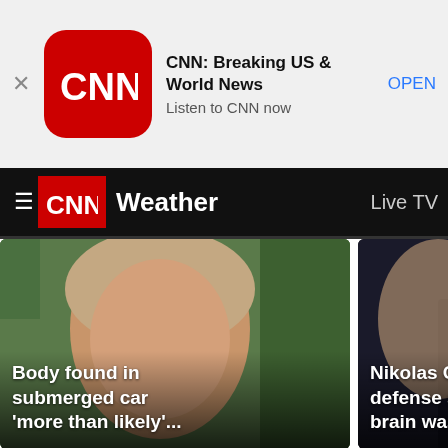[Figure (screenshot): App store banner with close button, CNN app icon, title 'CNN: Breaking US & World News', subtitle 'Listen to CNN now', and OPEN button]
CNN: Breaking US & World News
Listen to CNN now
OPEN
Weather   Live TV
[Figure (photo): Young blonde woman smiling outdoors near palm trees with text overlay: 'Body found in submerged car ‘more than likely’...']
[Figure (photo): Nikolas Cruz at court hearing with text overlay: 'Nikolas Cruz’s defense says his brain was...']
[Figure (photo): Partially visible gray card with text overlay: 'Video: Dau- Alexander bomb outs-']